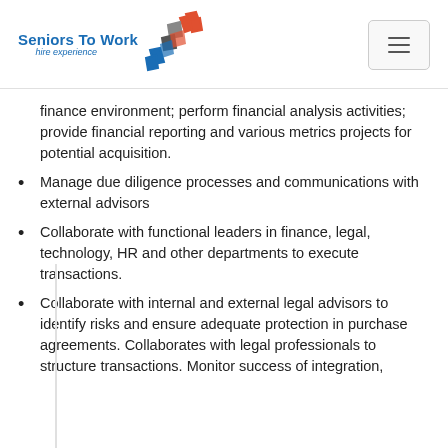Seniors To Work — hire experience
finance environment; perform financial analysis activities; provide financial reporting and various metrics projects for potential acquisition.
Manage due diligence processes and communications with external advisors
Collaborate with functional leaders in finance, legal, technology, HR and other departments to execute transactions.
Collaborate with internal and external legal advisors to identify risks and ensure adequate protection in purchase agreements. Collaborates with legal professionals to structure transactions. Monitor success of integration,